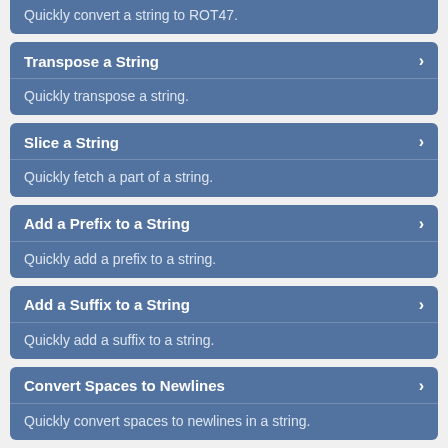Quickly convert a string to ROT47.
Transpose a String — Quickly transpose a string.
Slice a String — Quickly fetch a part of a string.
Add a Prefix to a String — Quickly add a prefix to a string.
Add a Suffix to a String — Quickly add a suffix to a string.
Convert Spaces to Newlines — Quickly convert spaces to newlines in a string.
Convert Newlines to Spaces — Quickly convert newlines to spaces in a string.